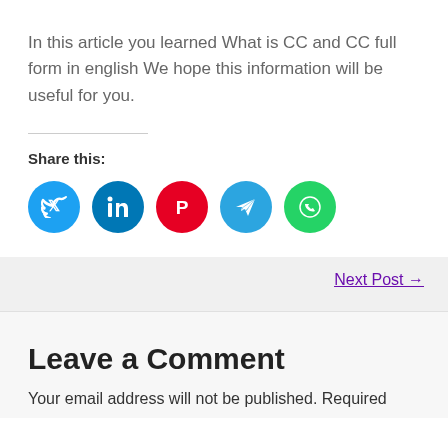In this article you learned What is CC and CC full form in english We hope this information will be useful for you.
Share this:
[Figure (infographic): Five circular social media share buttons: Twitter (blue), LinkedIn (dark blue), Pinterest (red), Telegram (light blue), WhatsApp (green)]
Next Post →
Leave a Comment
Your email address will not be published. Required